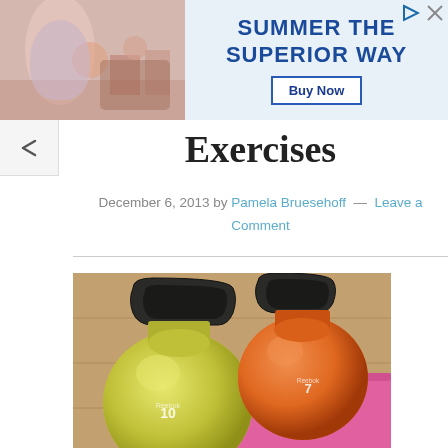[Figure (photo): Advertisement banner: photo of people with drinks on left, blue background with text 'SUMMER THE SUPERIOR WAY' and 'Buy Now' button on right, with close/share icons]
Exercises
December 6, 2013 by Pamela Bruesehoff — Leave a Comment
[Figure (photo): Two Reebok kettlebells — a yellow/olive one labeled '10' and an orange one labeled '7' — resting on a pink yoga mat on a wooden floor]
A guide to full body workout exercises...